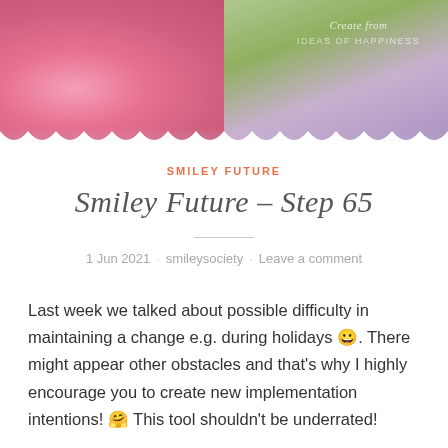[Figure (photo): Photo of a person with pink hair holding green leaves/plant, blurred background with pink and purple tones. Watermark text reads 'Create from IDEAS OF HAPPINESS']
SMILEY FUTURE
Smiley Future – Step 65
1 Jun 2021 · smileysociety · Leave a comment
Last week we talked about possible difficulty in maintaining a change e.g. during holidays 😀. There might appear other obstacles and that's why I highly encourage you to create new implementation intentions! 🤗 This tool shouldn't be underrated!